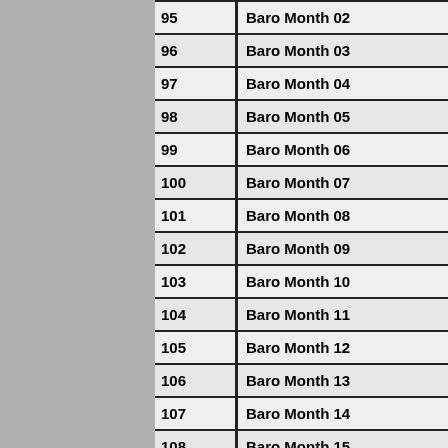| # | Name |
| --- | --- |
| 95 | Baro Month 02 |
| 96 | Baro Month 03 |
| 97 | Baro Month 04 |
| 98 | Baro Month 05 |
| 99 | Baro Month 06 |
| 100 | Baro Month 07 |
| 101 | Baro Month 08 |
| 102 | Baro Month 09 |
| 103 | Baro Month 10 |
| 104 | Baro Month 11 |
| 105 | Baro Month 12 |
| 106 | Baro Month 13 |
| 107 | Baro Month 14 |
| 108 | Baro Month 15 |
| 109 | Baro Month 16 |
| 110 | Baro Month 17 |
| 111 | Baro Month 18 |
| 112 | Baro Month 19 |